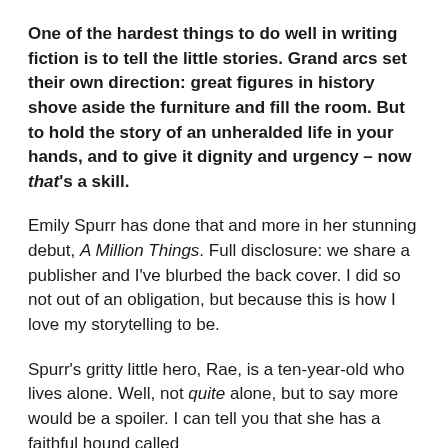One of the hardest things to do well in writing fiction is to tell the little stories. Grand arcs set their own direction: great figures in history shove aside the furniture and fill the room. But to hold the story of an unheralded life in your hands, and to give it dignity and urgency – now that's a skill.
Emily Spurr has done that and more in her stunning debut, A Million Things. Full disclosure: we share a publisher and I've blurbed the back cover. I did so not out of an obligation, but because this is how I love my storytelling to be.
Spurr's gritty little hero, Rae, is a ten-year-old who lives alone. Well, not quite alone, but to say more would be a spoiler. I can tell you that she has a faithful hound called